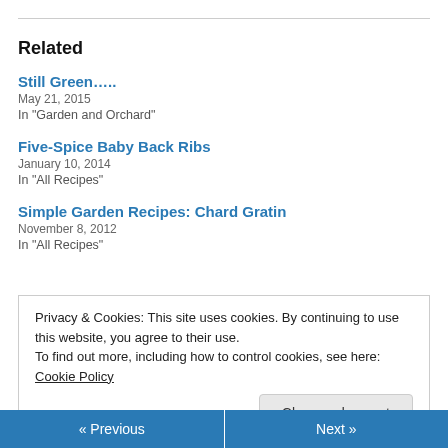Related
Still Green…..
May 21, 2015
In "Garden and Orchard"
Five-Spice Baby Back Ribs
January 10, 2014
In "All Recipes"
Simple Garden Recipes: Chard Gratin
November 8, 2012
In "All Recipes"
Privacy & Cookies: This site uses cookies. By continuing to use this website, you agree to their use.
To find out more, including how to control cookies, see here: Cookie Policy
« Previous    Next »